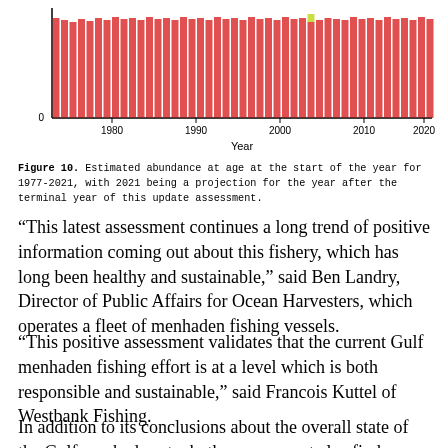[Figure (stacked-bar-chart): Stacked bar chart showing estimated abundance at age from approximately 1977 to 2021. Bars are predominantly red/salmon colored, with a small yellow-green bar segment visible around 2007-2008. The y-axis shows 0 at the bottom. X-axis labeled with years 1980, 1990, 2000, 2010, 2020.]
Figure 10. Estimated abundance at age at the start of the year for 1977-2021, with 2021 being a projection for the year after the terminal year of this update assessment.
“This latest assessment continues a long trend of positive information coming out about this fishery, which has long been healthy and sustainable,” said Ben Landry, Director of Public Affairs for Ocean Harvesters, which operates a fleet of menhaden fishing vessels.
“This positive assessment validates that the current Gulf menhaden fishing effort is at a level which is both responsible and sustainable,” said Francois Kuttel of Westbank Fishing.
In addition to its conclusions about the overall state of the Gulf menhaden stock, the assessment also finds